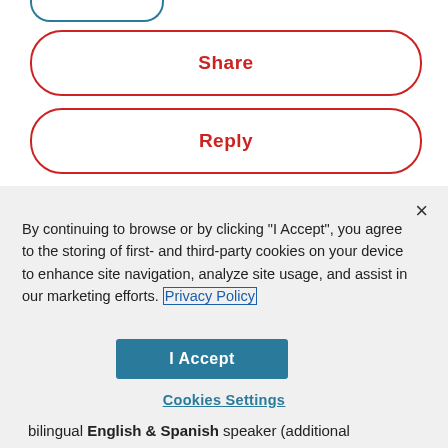[Figure (screenshot): Partial rounded button outline at top of page, teal/blue border, partially cut off]
Share
Reply
By continuing to browse or by clicking "I Accept", you agree to the storing of first- and third-party cookies on your device to enhance site navigation, analyze site usage, and assist in our marketing efforts. Privacy Policy
I Accept
Cookies Settings
bilingual English & Spanish speaker (additional